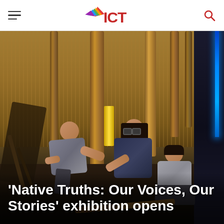ICT
[Figure (photo): Three children sitting on the floor inside a Native American-style structure with wooden poles and thatched walls, examining objects together. A blue glowing element is visible on the right side.]
'Native Truths: Our Voices, Our Stories' exhibition opens